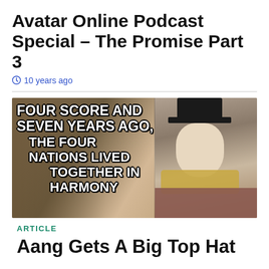Avatar Online Podcast Special – The Promise Part 3
10 years ago
[Figure (screenshot): Anime screenshot meme with text: FOUR SCORE AND SEVEN YEARS AGO, THE FOUR NATIONS LIVED TOGETHER IN HARMONY, overlaid on a character wearing a top hat]
ARTICLE
Aang Gets A Big Top Hat